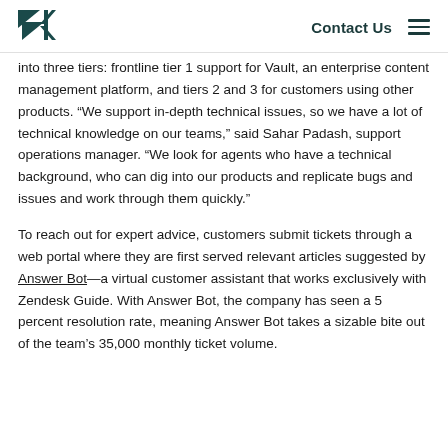Contact Us
into three tiers: frontline tier 1 support for Vault, an enterprise content management platform, and tiers 2 and 3 for customers using other products. “We support in-depth technical issues, so we have a lot of technical knowledge on our teams,” said Sahar Padash, support operations manager. “We look for agents who have a technical background, who can dig into our products and replicate bugs and issues and work through them quickly.”
To reach out for expert advice, customers submit tickets through a web portal where they are first served relevant articles suggested by Answer Bot—a virtual customer assistant that works exclusively with Zendesk Guide. With Answer Bot, the company has seen a 5 percent resolution rate, meaning Answer Bot takes a sizable bite out of the team’s 35,000 monthly ticket volume.